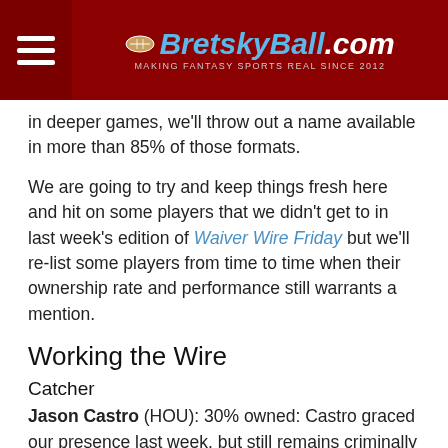BretskyBall.com — Making Fantasy Sports Real Since 2012
in deeper games, we'll throw out a name available in more than 85% of those formats.
We are going to try and keep things fresh here and hit on some players that we didn't get to in last week's edition of Waiver Wire Friday but we'll re-list some players from time to time when their ownership rate and performance still warrants a mention.
Working the Wire
Catcher
Jason Castro (HOU): 30% owned: Castro graced our presence last week, but still remains criminally underowned. The 25-year-old backstop is leading the charge for a red hot Houston Astros team that has won eight of their last 11 games. Since April 17, Castro